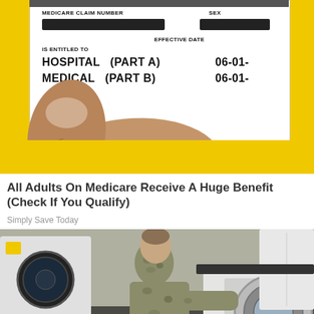[Figure (photo): A Medicare insurance card being held by a hand, showing fields: MEDICARE CLAIM NUMBER (redacted), SEX (redacted), IS ENTITLED TO, HOSPITAL (PART A) with EFFECTIVE DATE 06-01-, MEDICAL (PART B) with date 06-01-. Card is white with yellow envelope/folder background.]
All Adults On Medicare Receive A Huge Benefit (Check If You Qualify)
Simply Save Today
[Figure (photo): A man in military camouflage uniform crouching down and looking into the open door of a front-loading washing machine, with other appliances visible in the background.]